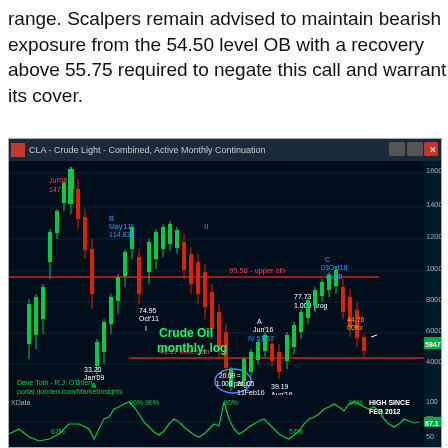range. Scalpers remain advised to maintain bearish exposure from the 54.50 level OB with a recovery above 55.75 required to negate this call and warrant its cover.
[Figure (continuous-plot): CLA - Crude Light - Combined, Active Monthly Continuation chart. A candlestick chart on monthly log scale showing Crude Oil price history. Key labels: Jul'08 147.27 (peak), May'11 114.83 (B), Oct'11 74.95 (I), Jan'09 33.20 (A), Jun'16 IV 51.67 (A), Aug'16 B 39.19, 11Feb16 V-C 26.05, 03Oct18 C 76.90, 44.76 60%r. Annotations: 95.50 upper clh (red line), 40.17 lower clh (red line), 77.73 - 1.000 prog, 26.09 = 1.000 prog (circled). Lower panel: XData oscillator with 96% HIGH SINCE FEB 2012 annotation. Credit: Dave Toth - R.J. O'Brien, portal.rjobrien.com/MarketInsights]